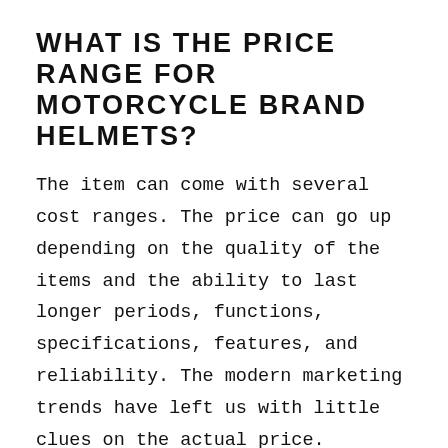WHAT IS THE PRICE RANGE FOR MOTORCYCLE BRAND HELMETS?
The item can come with several cost ranges. The price can go up depending on the quality of the items and the ability to last longer periods, functions, specifications, features, and reliability. The modern marketing trends have left us with little clues on the actual price. Sometimes a product manufactured cheaply can cost a lot more than a quality one. Some manufacturers spend more on marketing than manufacturing creating better reach